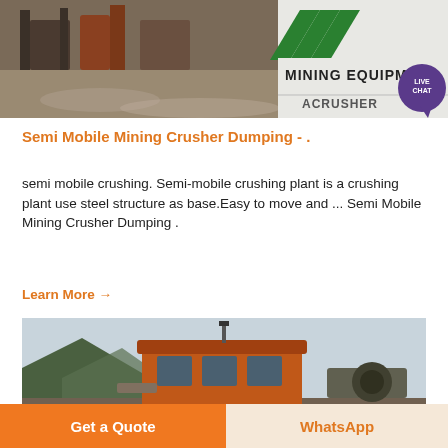[Figure (photo): Mining equipment site with machinery and gravel, and a sign reading MINING EQUIPMENT ACRUSHER]
Semi Mobile Mining Crusher Dumping - .
semi mobile crushing. Semi-mobile crushing plant is a crushing plant use steel structure as base.Easy to move and ... Semi Mobile Mining Crusher Dumping .
Learn More →
[Figure (photo): Orange control cabin or operator booth of a mining machine with mountains in background]
Get a Quote   WhatsApp